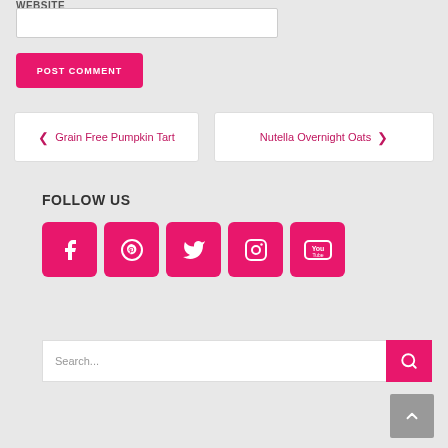Website
POST COMMENT
❮ Grain Free Pumpkin Tart
Nutella Overnight Oats ❯
FOLLOW US
[Figure (infographic): Row of five social media icon buttons (Facebook, Pinterest, Twitter, Instagram, YouTube) in hot-pink rounded squares]
Search...